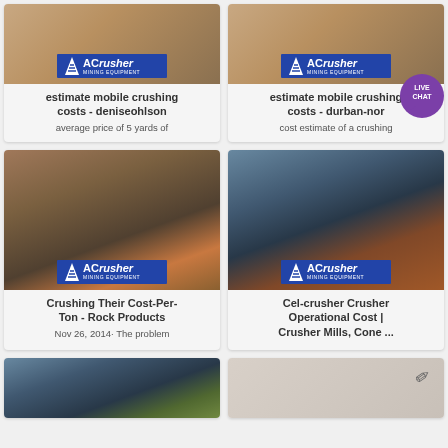[Figure (photo): ACrusher Mining Equipment branded card image - top left, estimate mobile crushing costs deniseohlson]
estimate mobile crushing costs - deniseohlson
average price of 5 yards of
[Figure (photo): ACrusher Mining Equipment branded card image - top right, estimate mobile crushing costs durban-nor, with LIVE CHAT badge]
estimate mobile crushing costs - durban-nor
cost estimate of a crushing
[Figure (photo): ACrusher Mining Equipment branded card image - Crushing Their Cost-Per-Ton Rock Products]
Crushing Their Cost-Per-Ton - Rock Products
Nov 26, 2014· The problem
[Figure (photo): ACrusher Mining Equipment branded card image - Cel-crusher Crusher Operational Cost Crusher Mills Cone]
Cel-crusher Crusher Operational Cost | Crusher Mills, Cone ...
[Figure (photo): ACrusher Mining Equipment branded card image - bottom left partial]
[Figure (photo): bottom right partial with pencil icon]